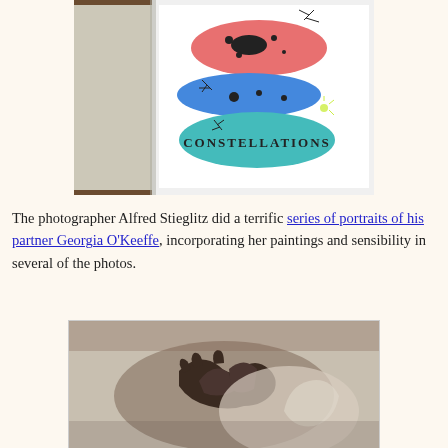[Figure (photo): A book opened to show its cover with the title CONSTELLATIONS and colorful abstract shapes — a pink/salmon oval at top, blue oval in middle, teal oval at bottom — with black ink splatters and star-burst marks on a white background. The book sits on a brown surface.]
The photographer Alfred Stieglitz did a terrific series of portraits of his partner Georgia O'Keeffe, incorporating her paintings and sensibility in several of the photos.
[Figure (photo): A black and white photograph showing hands resting on or near a sculptural form, with dramatic contrast and texture.]